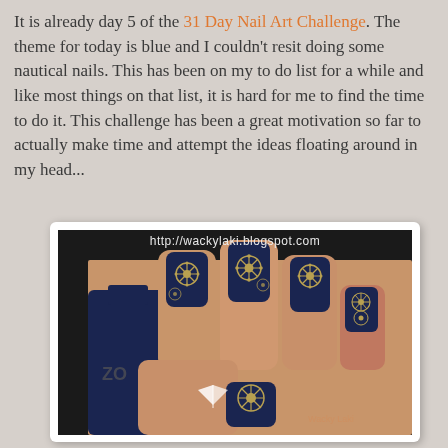It is already day 5 of the 31 Day Nail Art Challenge. The theme for today is blue and I couldn't resit doing some nautical nails. This has been on my to do list for a while and like most things on that list, it is hard for me to find the time to do it. This challenge has been a great motivation so far to actually make time and attempt the ideas floating around in my head...
[Figure (photo): Close-up photo of a hand holding a navy blue Zoya nail polish bottle, with nails painted in dark navy blue featuring gold nautical ship wheel stamping designs. Watermark reads http://wackylaki.blogspot.com]